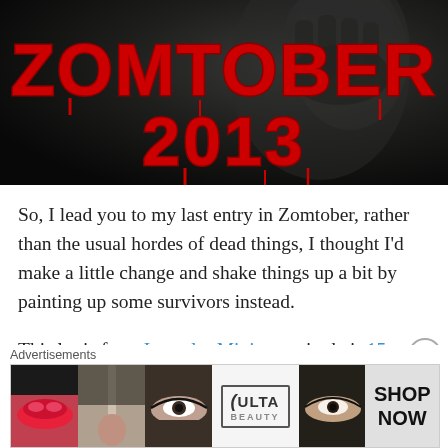[Figure (illustration): Zomtober 2013 banner image. Dark black-and-white background with a zombie hand/fist. Large red dripping horror-style text reads 'ZOMTOBER' on top line and '2013' on second line.]
So, I lead you to my last entry in Zomtober, rather than the usual hordes of dead things, I thought I'd make a little change and shake things up a bit by painting up some survivors instead.
This lot is from Irregular Miniatures in their 15mm Riot range (of which I have a lot of in my paint queue, you
[Figure (other): Advertisement banner. Label 'Advertisements' above. Shows makeup/beauty photos including lips with lipstick, a makeup brush, eye with eyeshadow, ULTA beauty logo, another eye photo, and a 'SHOP NOW' button area.]